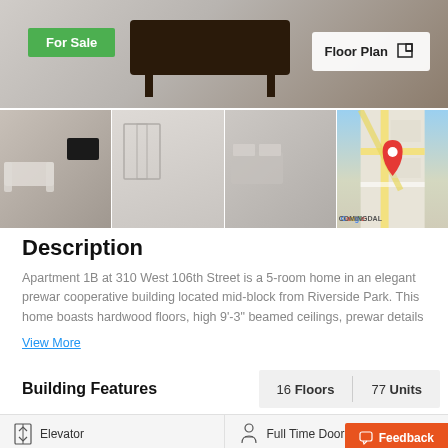[Figure (photo): Hero image of apartment interior with dark coffee table, 'For Sale' green badge, and 'Floor Plan' button overlay]
[Figure (photo): Four thumbnail images: living room, empty room, bedroom, Google Map with red pin]
Description
Apartment 1B at 310 West 106th Street is a 5-room home in an elegant prewar cooperative building located mid-block from Riverside Park. This home boasts hardwood floors, high 9'-3" beamed ceilings, prewar details
View More
Building Features
16 Floors  |  77 Units
Elevator
Full Time Doorman